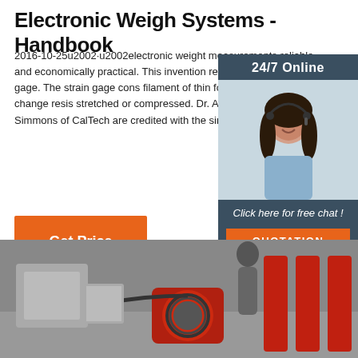Electronic Weigh Systems - Handbook
2016-10-25u2002·u2002electronic weight measurements reliable and economically practical. This invention resistance wire strain gage. The strain gage cons filament of thin foil or wire which will change resis stretched or compressed. Dr. Arthur C. Ruge of M Simmons of CalTech are credited with the simulta independent
[Figure (photo): 24/7 Online chat widget with woman wearing headset, 'Click here for free chat!' and QUOTATION button]
[Figure (photo): Industrial equipment photo showing cable reel/winch machinery in a workshop or warehouse setting]
Get Price